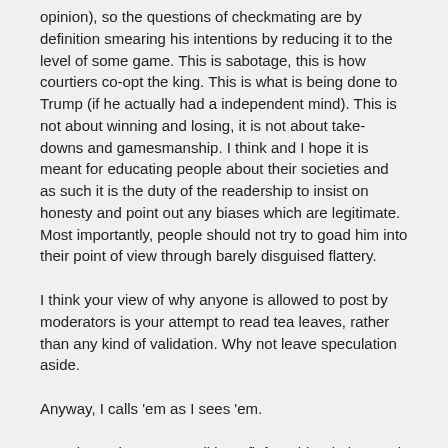opinion), so the questions of checkmating are by definition smearing his intentions by reducing it to the level of some game. This is sabotage, this is how courtiers co-opt the king. This is what is being done to Trump (if he actually had a independent mind). This is not about winning and losing, it is not about take-downs and gamesmanship. I think and I hope it is meant for educating people about their societies and as such it is the duty of the readership to insist on honesty and point out any biases which are legitimate. Most importantly, people should not try to goad him into their point of view through barely disguised flattery.
I think your view of why anyone is allowed to post by moderators is your attempt to read tea leaves, rather than any kind of validation. Why not leave speculation aside.
Anyway, I calls 'em as I sees 'em.
Lets, hope that we can all benefit from his wisdom and not demand his opinions on topics of our interest hoping for favors.
Jenn
Reply